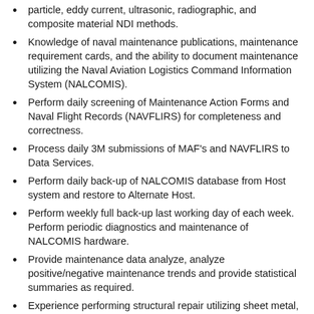particle, eddy current, ultrasonic, radiographic, and composite material NDI methods.
Knowledge of naval maintenance publications, maintenance requirement cards, and the ability to document maintenance utilizing the Naval Aviation Logistics Command Information System (NALCOMIS).
Perform daily screening of Maintenance Action Forms and Naval Flight Records (NAVFLIRS) for completeness and correctness.
Process daily 3M submissions of MAF's and NAVFLIRS to Data Services.
Perform daily back-up of NALCOMIS database from Host system and restore to Alternate Host.
Perform weekly full back-up last working day of each week. Perform periodic diagnostics and maintenance of NALCOMIS hardware.
Provide maintenance data analyze, analyze positive/negative maintenance trends and provide statistical summaries as required.
Experience performing structural repair utilizing sheet metal, fiberglass and composite materials
Thorough knowledge of corrosion control and aircraft painting techniques.